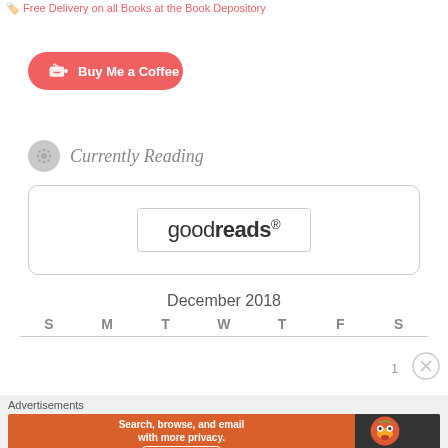Free Delivery on all Books at the Book Depository
[Figure (logo): Buy Me a Coffee button - coral/red rounded pill button with coffee cup icon]
Currently Reading
[Figure (logo): Goodreads widget box with goodreads logo text inside a rounded rectangle]
| S | M | T | W | T | F | S |
| --- | --- | --- | --- | --- | --- | --- |
1
Advertisements
[Figure (other): DuckDuckGo advertisement banner: Search, browse, and email with more privacy. All in One Free App. Orange background with DuckDuckGo duck logo on dark right panel.]